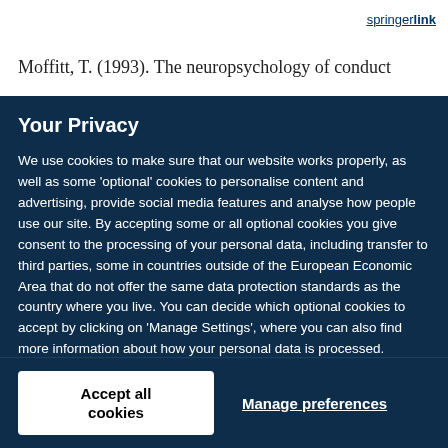springer link (link)
Moffitt, T. (1993). The neuropsychology of conduct
Your Privacy
We use cookies to make sure that our website works properly, as well as some 'optional' cookies to personalise content and advertising, provide social media features and analyse how people use our site. By accepting some or all optional cookies you give consent to the processing of your personal data, including transfer to third parties, some in countries outside of the European Economic Area that do not offer the same data protection standards as the country where you live. You can decide which optional cookies to accept by clicking on 'Manage Settings', where you can also find more information about how your personal data is processed. Further information can be found in our privacy policy.
Accept all cookies
Manage preferences